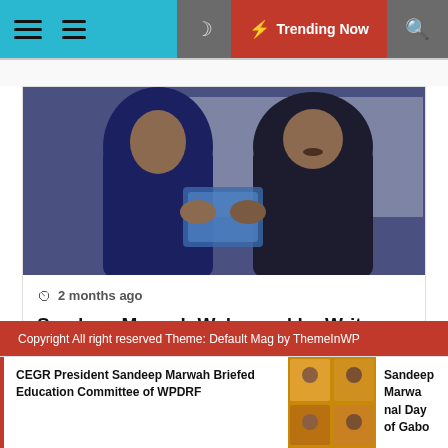≡ ≡  🌙  ⚡ Trending Now  🔍
[Figure (photo): Two men in dark winter jackets shaking hands, exchanging a document or book, outdoors]
⊙ 2 months ago
Sandeep Marwah Welcomed by Writers Fraternity at London
Copyright All right reserved Theme: Default Mag by ThemeInWP
CEGR President Sandeep Marwah Briefed Education Committee of WPDRF
[Figure (photo): Group photo collage thumbnail]
Sandeep Marwah nal Day of Gabo